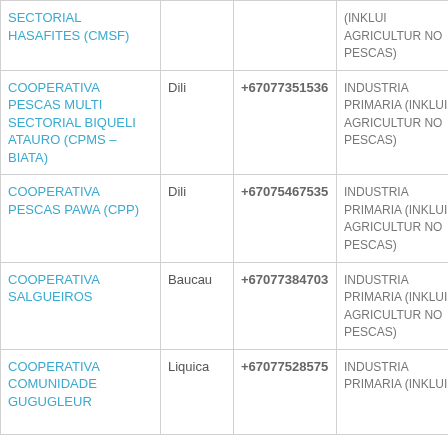| Organization | Location | Phone | Sector | Other |
| --- | --- | --- | --- | --- |
| SECTORIAL HASAFITES (CMSF) |  |  | (INKLUI AGRICULTUR NO PESCAS) |  |
| COOPERATIVA PESCAS MULTI SECTORIAL BIQUELI ATAURO (CPMS – BIATA) | Dili | +67077351536 | INDUSTRIA PRIMARIA (INKLUI AGRICULTUR NO PESCAS) | PES... |
| COOPERATIVA PESCAS PAWA (CPP) | Dili | +67075467535 | INDUSTRIA PRIMARIA (INKLUI AGRICULTUR NO PESCAS) | PES... |
| COOPERATIVA SALGUEIROS | Baucau | +67077384703 | INDUSTRIA PRIMARIA (INKLUI AGRICULTUR NO PESCAS) | EKI... NO... AGI... PES... |
| COOPERATIVA COMUNIDADE GUGUGLEUR... | Liquica | +67077528575 | INDUSTRIA PRIMARIA (INKLUI... | HA... TO... |